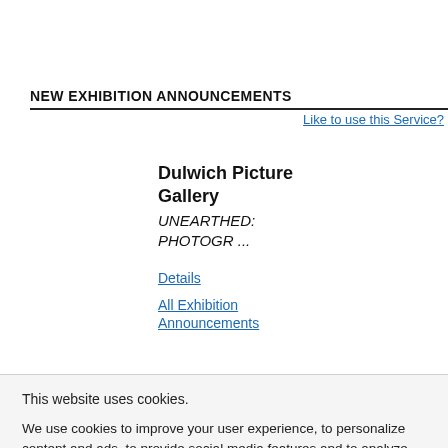NEW EXHIBITION ANNOUNCEMENTS
Like to use this Service?
Dulwich Picture Gallery
UNEARTHED: PHOTOGR ...
Details
All Exhibition Announcements
This website uses cookies.
We use cookies to improve your user experience, to personalize content and ads, to provide social media features and to analyze our traffic. We also